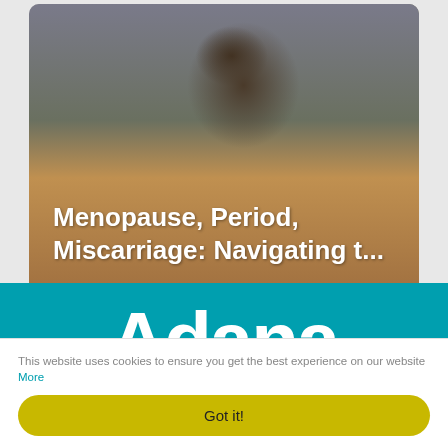[Figure (photo): A woman with dark hair holding her head with one hand, appearing stressed or in pain, seated at a desk with papers. Overlaid white bold text reads: 'Menopause, Period, Miscarriage: Navigating t...']
Menopause, Period, Miscarriage: Navigating t...
Adana
This website uses cookies to ensure you get the best experience on our website More
Got it!